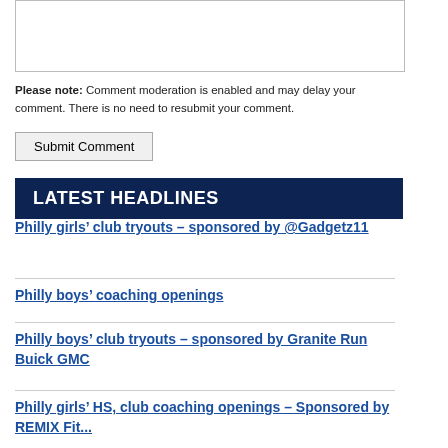[textarea/comment input box]
Please note: Comment moderation is enabled and may delay your comment. There is no need to resubmit your comment.
Submit Comment
LATEST HEADLINES
Philly girls' club tryouts – sponsored by @Gadgetz11
Philly boys' coaching openings
Philly boys' club tryouts – sponsored by Granite Run Buick GMC
Philly girls' HS, club coaching openings – Sponsored by REMIX Fit...